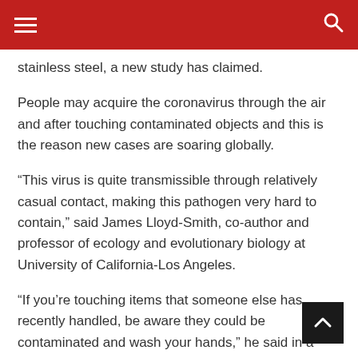stainless steel, a new study has claimed.
People may acquire the coronavirus through the air and after touching contaminated objects and this is the reason new cases are soaring globally.
“This virus is quite transmissible through relatively casual contact, making this pathogen very hard to contain,” said James Lloyd-Smith, co-author and professor of ecology and evolutionary biology at University of California-Los Angeles.
“If you’re touching items that someone else has recently handled, be aware they could be contaminated and wash your hands,” he said in a paper published in the New England Journal of Medicine.